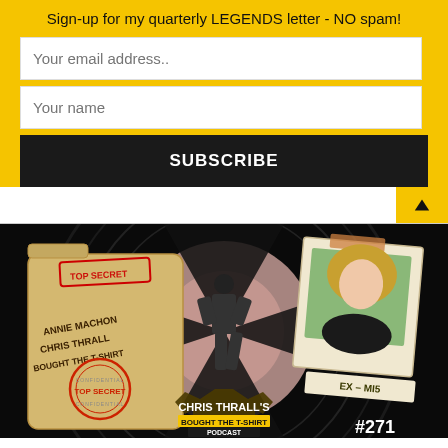Sign-up for my quarterly LEGENDS letter - NO spam!
Your email address..
Your name
SUBSCRIBE
[Figure (photo): Podcast thumbnail for Chris Thrall's Bought The T-Shirt Podcast episode #271, featuring Annie Machon (Ex-MI5). Shows a James Bond-style gun barrel background, a 'TOP SECRET' dossier card with names ANNIE MACHON, CHRIS THRALL, BOUGHT THE T-SHIRT, a man in suit standing in spotlight, a polaroid photo of a blonde woman labeled EX-MI5, and the podcast logo with #271.]